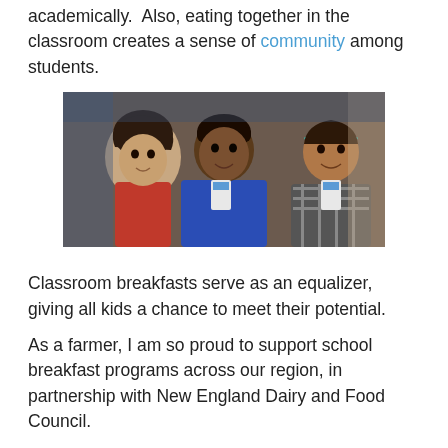academically.  Also, eating together in the classroom creates a sense of community among students.
[Figure (photo): Three children smiling and holding milk cartons in a classroom setting.]
Classroom breakfasts serve as an equalizer, giving all kids a chance to meet their potential.
As a farmer, I am so proud to support school breakfast programs across our region, in partnership with New England Dairy and Food Council.
As a mom, I am so grateful this program exists within our community, to help our kids learn, grow, and thrive.
Learn more about School Breakfast and read